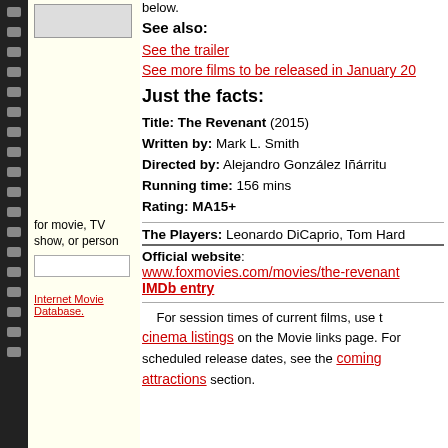below.
See also:
See the trailer
See more films to be released in January 20...
Just the facts:
Title: The Revenant (2015)
Written by: Mark L. Smith
Directed by: Alejandro González Iñárritu
Running time: 156 mins
Rating: MA15+
The Players: Leonardo DiCaprio, Tom Hard...
Official website: www.foxmovies.com/movies/the-revenant
IMDb entry
for movie, TV show, or person
Internet Movie Database.
For session times of current films, use the cinema listings on the Movie links page. For scheduled release dates, see the coming attractions section.